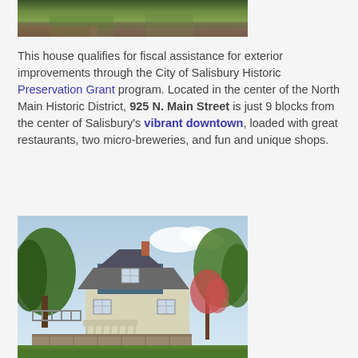[Figure (photo): Partial top photo showing grass and soil ground cover, cropped at top of page]
This house qualifies for fiscal assistance for exterior improvements through the City of Salisbury Historic Preservation Grant program. Located in the center of the North Main Historic District, 925 N. Main Street is just 9 blocks from the center of Salisbury's vibrant downtown, loaded with great restaurants, two micro-breweries, and fun and unique shops.
[Figure (photo): Photo of a historic house at 925 N. Main Street in Salisbury. The house has a craftsman/Victorian style with blue upper story, white siding, a front porch, surrounded by trees and a stone retaining wall along a driveway.]